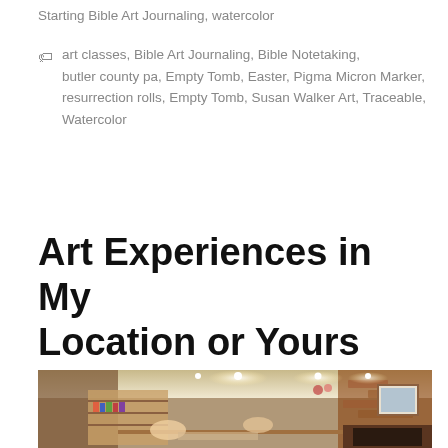Starting Bible Art Journaling, watercolor
art classes, Bible Art Journaling, Bible Notetaking, butler county pa, Empty Tomb, Easter, Pigma Micron Marker, resurrection rolls, Empty Tomb, Susan Walker Art, Traceable, Watercolor
Art Experiences in My Location or Yours
[Figure (photo): Photo of an art studio/living room with people working on art projects around a table, bookshelves, brick fireplace, bright ceiling lights, and various art supplies and decorations.]